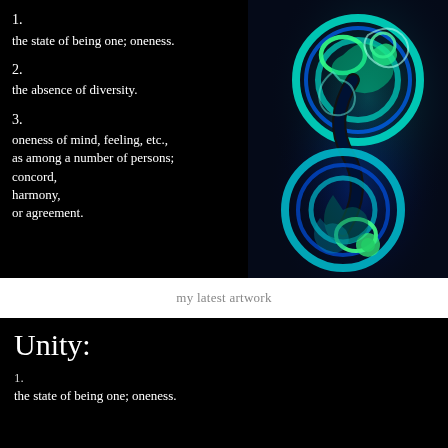[Figure (illustration): Black background with decorative maori-style koru/spiral artwork in teal, blue and green colors. Text overlay with numbered definitions of unity.]
1. the state of being one; oneness.
2. the absence of diversity.
3. oneness of mind, feeling, etc., as among a number of persons; concord, harmony, or agreement.
my latest artwork
[Figure (illustration): Black background with decorative maori-style koru/spiral artwork in teal, blue and green. Title 'Unity:' and first definition overlaid.]
Unity:
1. the state of being one; oneness.